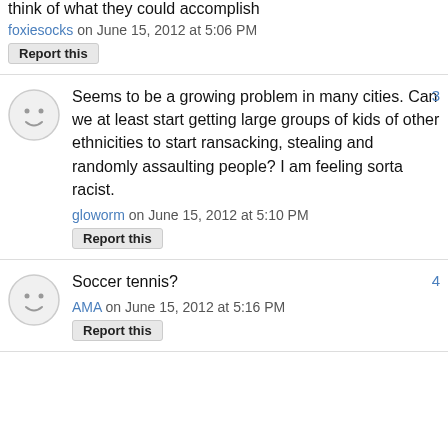think of what they could accomplish
foxiesocks on June 15, 2012 at 5:06 PM
Report this
Seems to be a growing problem in many cities. Can we at least start getting large groups of kids of other ethnicities to start ransacking, stealing and randomly assaulting people? I am feeling sorta racist.
gloworm on June 15, 2012 at 5:10 PM
Report this
Soccer tennis?
AMA on June 15, 2012 at 5:16 PM
Report this